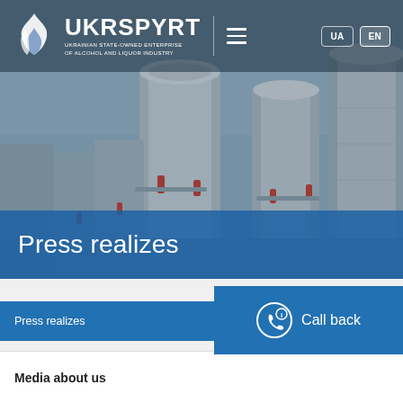[Figure (photo): Industrial facility with large metal storage silos/tanks in background, muted blue-grey tones, serving as hero image for Ukrspyrt website]
UKRSPYRT
UKRAINIAN STATE-OWNED ENTERPRISE OF ALCOHOL AND LIQUOR INDUSTRY
Press realizes
Press realizes
Call back
Media about us